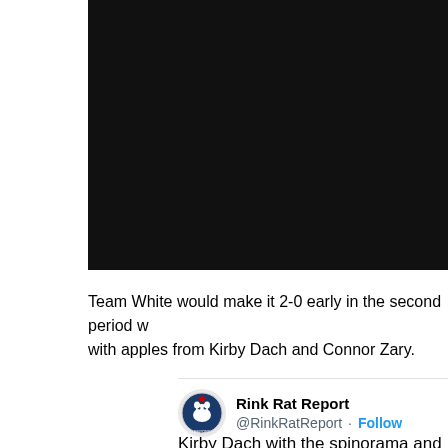[Figure (photo): Dark/black video player area]
Team White would make it 2-0 early in the second period w with apples from Kirby Dach and Connor Zary.
[Figure (screenshot): Tweet card from Rink Rat Report (@RinkRatReport) with Follow button. Tweet preview: 'Kirby Dach with the spinorama and Phi']
Kirby Dach with the spinorama and Phi